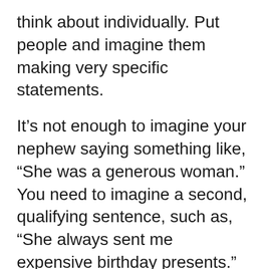think about individually. Put people and imagine them making very specific statements.
It’s not enough to imagine your nephew saying something like, “She was a generous woman.” You need to imagine a second, qualifying sentence, such as, “She always sent me expensive birthday presents.”
And be honest. Don’t sugarcoat the pill. Say it like it is. For example, your next door neighbor might be saying, “I thought he was a very inconsiderate person. He never picked up the mess when his dog crapped on my lawn.”